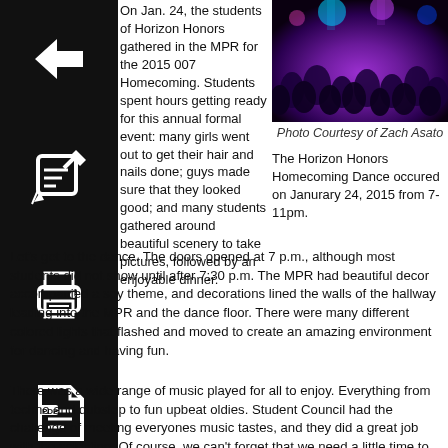[Figure (illustration): Black box with left arrow icon (back navigation)]
[Figure (illustration): Black box with edit/pencil icon]
[Figure (illustration): Black box with printer icon]
[Figure (illustration): Black box with PDF/document icon]
On Jan. 24, the students of Horizon Honors gathered in the MPR for the 2015 007 Homecoming. Students spent hours getting ready for this annual formal event: many girls went out to get their hair and nails done; guys made sure that they looked good; and many students gathered around beautiful scenery to take pictures, followed by an enjoyable dinner.
[Figure (photo): Crowd at homecoming dance with purple and blue lights]
Photo Courtesy of Zach Asato
The Horizon Honors Homecoming Dance occured on Janurary 24, 2015 from 7-11pm.
Let's get to the dance. The doors opened at 7 p.m., although most students did not show until after 7:30 p.m. The MPR had beautiful decor accompanied a spy theme, and decorations lined the walls of the hallway leading into the MPR and the dance floor. There were many different colored lights that flashed and moved to create an amazing environment for dancing and having fun.
There was a wide range of music played for all to enjoy. Everything from techno and dubstep to fun upbeat oldies. Student Council had the challenge of meeting everyones music tastes, and they did a great job with the selection. Of course, we can't forget that we need a little time to relax from the crazy beats, with slow songs. Over the